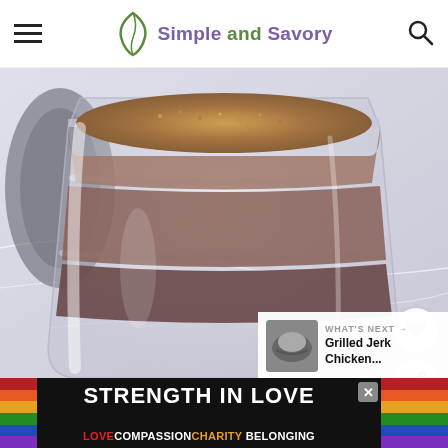Simple and Savory
[Figure (photo): Close-up photo of a glass mason jar filled with layered spice rub mixture in browns and golds, on a marble surface]
WHAT'S NEXT → Grilled Jerk Chicken...
STRENGTH IN LOVE LOVE COMPASSION CHARITY BELONGING